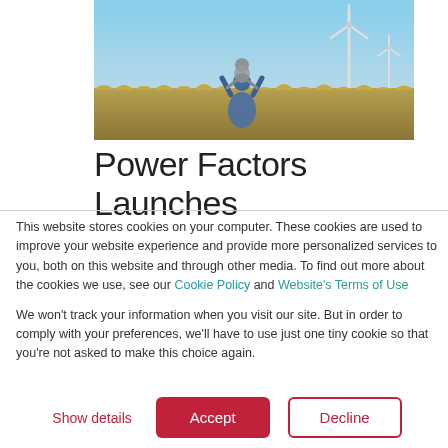[Figure (photo): Photo of a person carrying a child on their shoulders in a field with wind turbines in the background against a blue sky.]
Power Factors Launches
This website stores cookies on your computer. These cookies are used to improve your website experience and provide more personalized services to you, both on this website and through other media. To find out more about the cookies we use, see our Cookie Policy and Website's Terms of Use
We won't track your information when you visit our site. But in order to comply with your preferences, we'll have to use just one tiny cookie so that you're not asked to make this choice again.
Show details  Accept  Decline